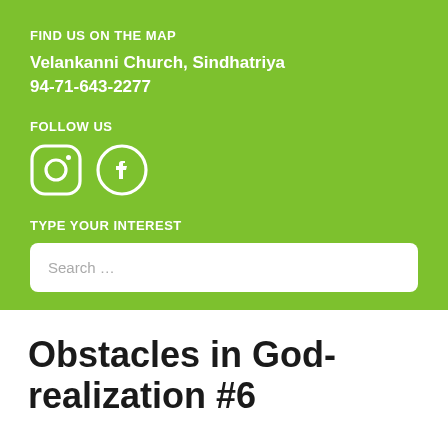FIND US ON THE MAP
Velankanni Church, Sindhatriya
94-71-643-2277
FOLLOW US
[Figure (illustration): Instagram and Facebook social media icons in white outline style on green background]
TYPE YOUR INTEREST
Search …
Obstacles in God-realization #6